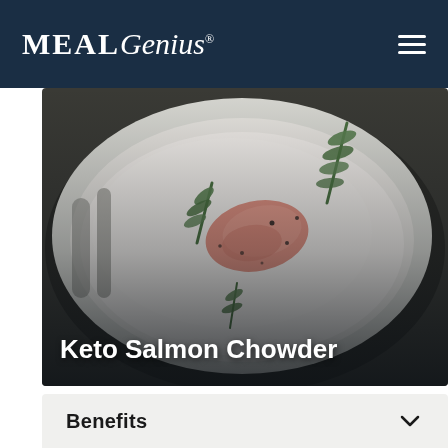MealGenius
[Figure (photo): A bowl of keto salmon chowder with creamy white broth, pieces of salmon, fresh dill garnish, and black pepper]
Keto Salmon Chowder
Benefits